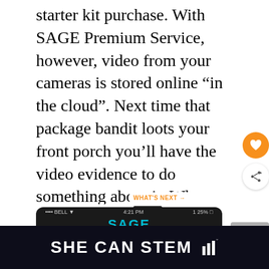starter kit purchase. With SAGE Premium Service, however, video from your cameras is stored online “in the cloud”. Next time that package bandit loots your front porch you’ll have the video evidence to do something about it. Who knows, maybe your camera will catch a special family moment, such as baby’s first steps. If the camera sees it, you can download and save the video, which can be played back and shared any time you wa
[Figure (screenshot): Screenshot of a SAGE mobile app on a smartphone, showing the SAGE logo text in teal on a dark background. Partial view of phone with status bar showing BELL carrier, 4:21 PM time.]
[Figure (other): What's Next panel showing a small image of a dark home security device with text 'Customizable Home Secur...']
[Figure (other): Gray placeholder box in bottom right corner]
SHE CAN STEM